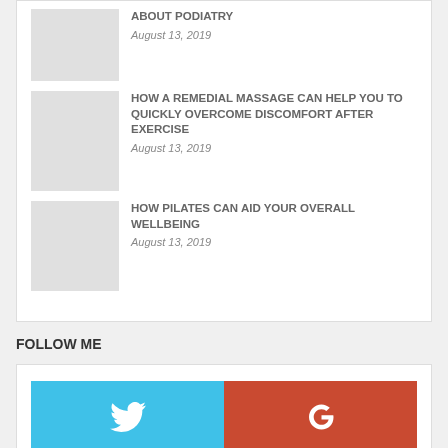ABOUT PODIATRY — August 13, 2019
HOW A REMEDIAL MASSAGE CAN HELP YOU TO QUICKLY OVERCOME DISCOMFORT AFTER EXERCISE — August 13, 2019
HOW PILATES CAN AID YOUR OVERALL WELLBEING — August 13, 2019
FOLLOW ME
[Figure (infographic): Social media follow buttons: large Twitter (blue) and Google+ (red-orange) buttons, then small Twitter, Facebook, Pinterest, Google+ icon buttons with share count 0]